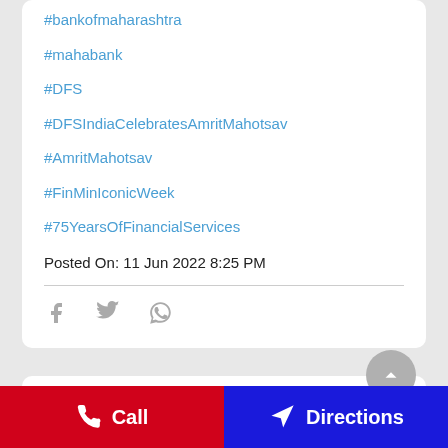#bankofmaharashtra
#mahabank
#DFS
#DFSIndiaCelebratesAmritMahotsav
#AmritMahotsav
#FinMinIconicWeek
#75YearsOfFinancialServices
Posted On: 11 Jun 2022 8:25 PM
Commemorating #AzadiKaAmritMahotsav, Bank of Maharashtra, Noida Zone conducted Campaign to reach out to small business, retailers, street vendors, etc., Shri A B Vijayakumar, Hon'ble Executive Dir
Call
Directions